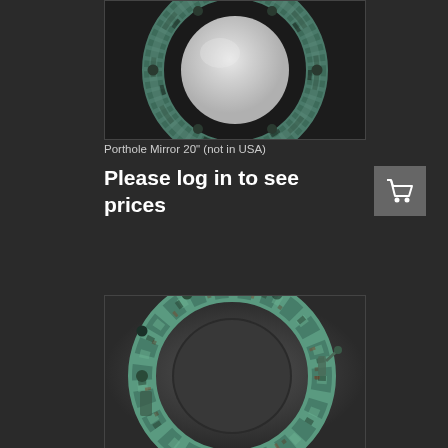[Figure (photo): Porthole mirror with round reflective glass center surrounded by aged verdigris bronze/copper frame with bolts, photographed against dark background]
Porthole Mirror 20" (not in USA)
Please log in to see prices
[Figure (photo): Close-up of verdigris patinated bronze/copper porthole ring with bolts, no mirror, just the ring frame against grey background]